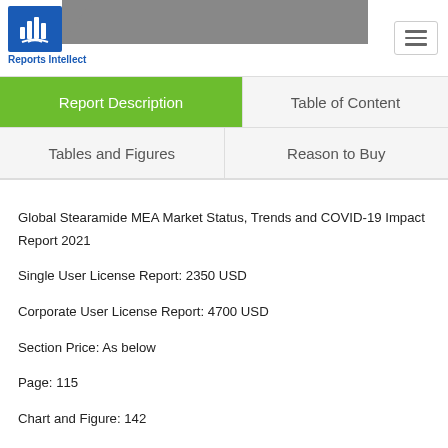[Figure (logo): Reports Intellect logo with blue square containing bar chart and hand icon, brand name below]
Reports Intellect
Report Description
Table of Content
Tables and Figures
Reason to Buy
Global Stearamide MEA Market Status, Trends and COVID-19 Impact Report 2021
Single User License Report: 2350 USD
Corporate User License Report: 4700 USD
Section Price: As below
Page: 115
Chart and Figure: 142
Publisher: BisReport
Delivery Time: 48 hour
Contact: sales@bisreport.com
Phone: +86-18612563964
In the past few years, the Stearamide MEA market